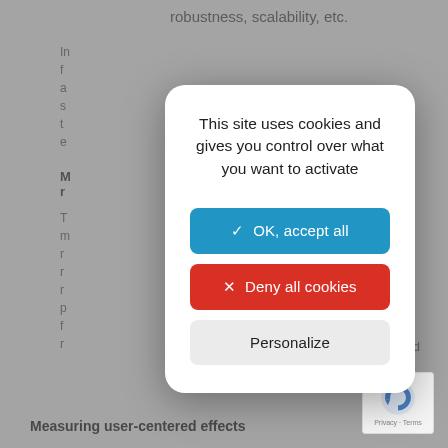robustness, scalability, etc.
In... f... a... s... t... e...
M... r...
T... m... r... r... r... p... f... r...
Measuring user-centered effects
[Figure (screenshot): Cookie consent modal dialog with title 'This site uses cookies and gives you control over what you want to activate', a blue 'OK, accept all' button, a red 'Deny all cookies' button, and a light grey 'Personalize' button, overlaid on a blurred academic article page.]